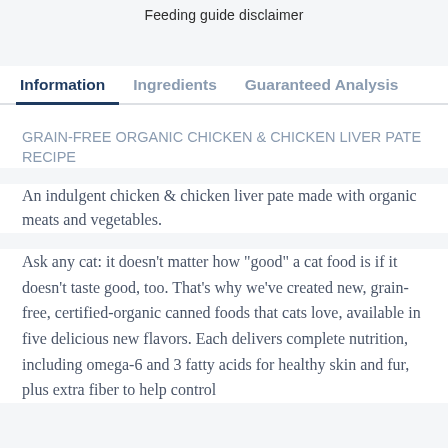Feeding guide disclaimer
Information | Ingredients | Guaranteed Analysis
GRAIN-FREE ORGANIC CHICKEN & CHICKEN LIVER PATE RECIPE
An indulgent chicken & chicken liver pate made with organic meats and vegetables.
Ask any cat: it doesn't matter how "good" a cat food is if it doesn't taste good, too. That's why we've created new, grain-free, certified-organic canned foods that cats love, available in five delicious new flavors. Each delivers complete nutrition, including omega-6 and 3 fatty acids for healthy skin and fur, plus extra fiber to help control